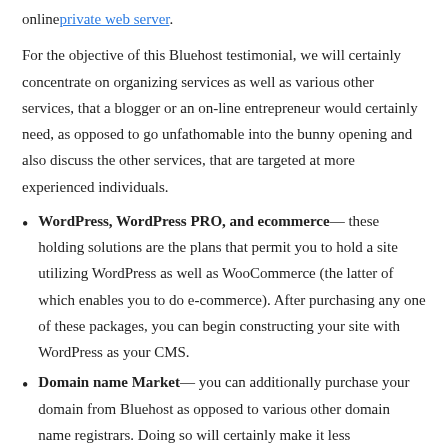onlineprivate web server.
For the objective of this Bluehost testimonial, we will certainly concentrate on organizing services as well as various other services, that a blogger or an on-line entrepreneur would certainly need, as opposed to go unfathomable into the bunny opening and also discuss the other services, that are targeted at more experienced individuals.
WordPress, WordPress PRO, and ecommerce— these holding solutions are the plans that permit you to hold a site utilizing WordPress as well as WooCommerce (the latter of which enables you to do e-commerce). After purchasing any one of these packages, you can begin constructing your site with WordPress as your CMS.
Domain name Market— you can additionally purchase your domain from Bluehost as opposed to various other domain name registrars. Doing so will certainly make it less complicated to point your domain to your host's name web...